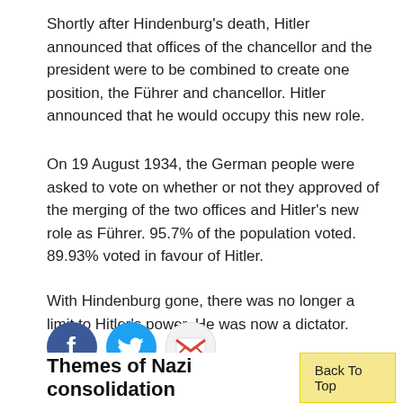Shortly after Hindenburg's death, Hitler announced that offices of the chancellor and the president were to be combined to create one position, the Führer and chancellor. Hitler announced that he would occupy this new role.
On 19 August 1934, the German people were asked to vote on whether or not they approved of the merging of the two offices and Hitler's new role as Führer. 95.7% of the population voted. 89.93% voted in favour of Hitler.
With Hindenburg gone, there was no longer a limit to Hitler's power. He was now a dictator.
[Figure (infographic): Three social media sharing icons: Facebook (blue circle with white f), Twitter (blue circle with white bird), Gmail (white circle with red M envelope)]
Themes of Nazi consolidation
Back To Top